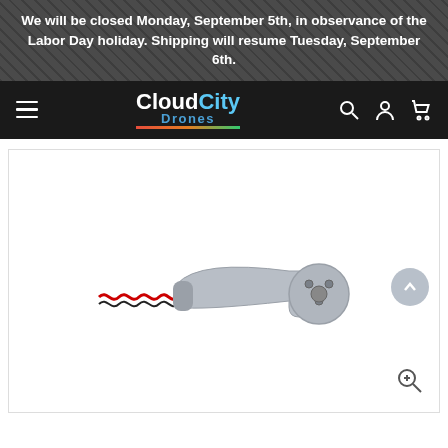We will be closed Monday, September 5th, in observance of the Labor Day holiday. Shipping will resume Tuesday, September 6th.
[Figure (logo): CloudCity Drones logo with navigation icons (hamburger menu, search, account, cart) on a black navigation bar]
[Figure (photo): A gray drone arm/motor mount component with twisted red and black wires coming out of one end, and a circular motor mount with screw holes on the other end.]